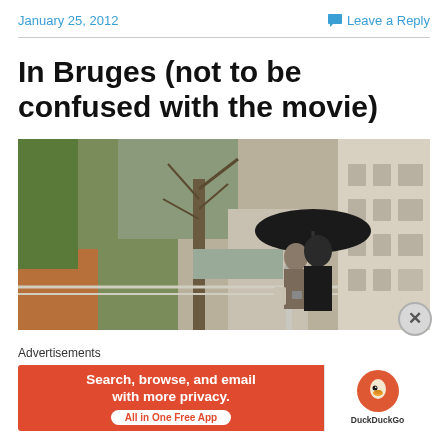January 25, 2012
Leave a Reply
In Bruges (not to be confused with the movie)
[Figure (photo): Two people standing under a black umbrella on a path next to a canal in Bruges, Belgium. Buildings and bare trees in the background. Rainy overcast day.]
Advertisements
[Figure (other): DuckDuckGo advertisement banner: 'Search, browse, and email with more privacy. All in One Free App' with DuckDuckGo logo on right side.]